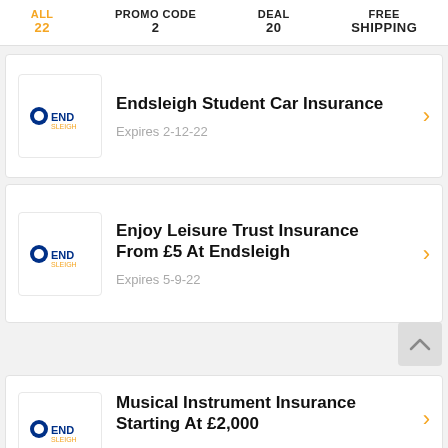ALL 22 | PROMO CODE 2 | DEAL 20 | FREE SHIPPING
Endsleigh Student Car Insurance
Expires 2-12-22
Enjoy Leisure Trust Insurance From £5 At Endsleigh
Expires 5-9-22
Musical Instrument Insurance Starting At £2,000